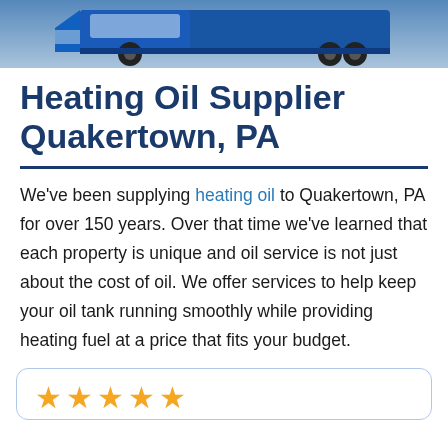[Figure (photo): Blue commercial truck/tanker vehicle on a gray background, showing the front and side chassis.]
Heating Oil Supplier Quakertown, PA
We've been supplying heating oil to Quakertown, PA for over 150 years. Over that time we've learned that each property is unique and oil service is not just about the cost of oil. We offer services to help keep your oil tank running smoothly while providing heating fuel at a price that fits your budget.
[Figure (other): Review card with five gold stars rating.]